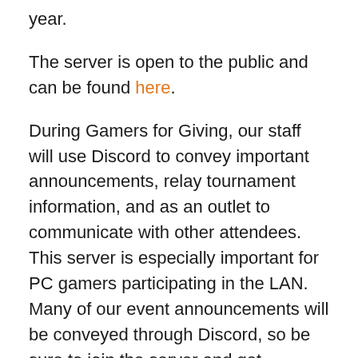year.
The server is open to the public and can be found here.
During Gamers for Giving, our staff will use Discord to convey important announcements, relay tournament information, and as an outlet to communicate with other attendees. This server is especially important for PC gamers participating in the LAN. Many of our event announcements will be conveyed through Discord, so be sure to join the server and get prepared for this year’s event!
We hope to see you in the chat on March 23rd & 24th at the EMU Convocation Center!